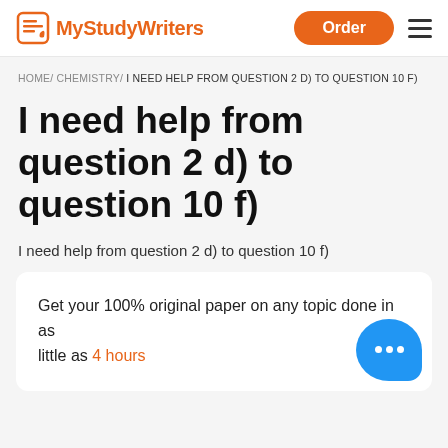MyStudyWriters | Order
HOME/ CHEMISTRY/ I NEED HELP FROM QUESTION 2 D) TO QUESTION 10 F)
I need help from question 2 d) to question 10 f)
I need help from question 2 d) to question 10 f)
Get your 100% original paper on any topic done in as little as 4 hours